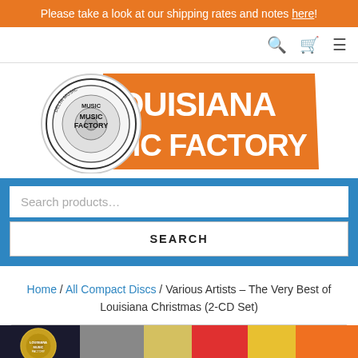Please take a look at our shipping rates and notes here!
[Figure (logo): Louisiana Music Factory logo with circular drum emblem and orange diagonal banner with white text]
Search products…
SEARCH
Home / All Compact Discs / Various Artists – The Very Best of Louisiana Christmas (2-CD Set)
[Figure (photo): Bottom portion of a CD product image showing Louisiana Music Factory branding with colorful design]